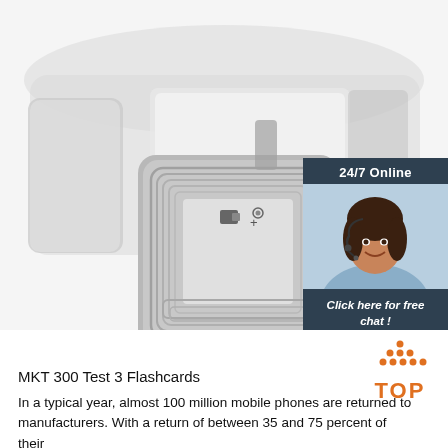[Figure (photo): RFID/NFC tags on a roll, with a square inlay tag in front on a white background, with a 24/7 online chat widget overlay in the top-right corner showing a female customer support agent with headset, a 'Click here for free chat!' message, and an orange QUOTATION button.]
[Figure (other): Orange and dark 'TOP' icon with dot pattern above the text]
MKT 300 Test 3 Flashcards
In a typical year, almost 100 million mobile phones are returned to manufacturers. With a return of between 35 and 75 percent of their